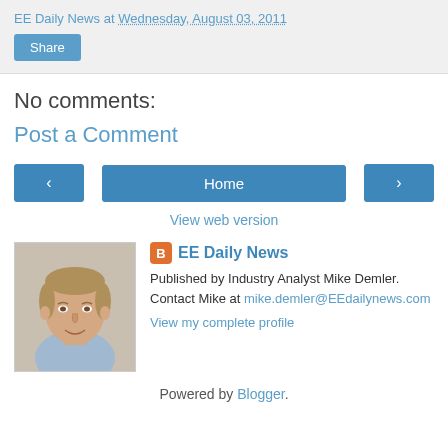EE Daily News at Wednesday, August 03, 2011
Share
No comments:
Post a Comment
< Home >
View web version
[Figure (photo): Profile photo of Mike Demler, an industry analyst]
EE Daily News
Published by Industry Analyst Mike Demler.
Contact Mike at mike.demler@EEdailynews.com
View my complete profile
Powered by Blogger.